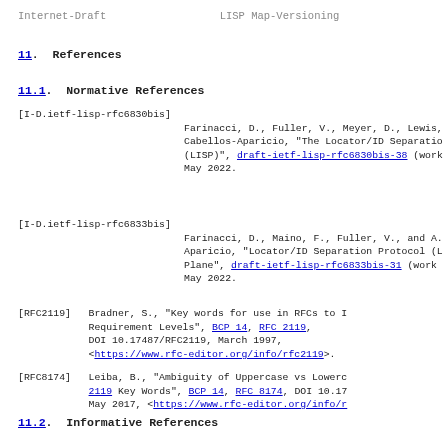Internet-Draft                    LISP Map-Versioning
11.  References
11.1.  Normative References
[I-D.ietf-lisp-rfc6830bis]  Farinacci, D., Fuller, V., Meyer, D., Lewis, Cabellos-Aparicio, "The Locator/ID Separatio (LISP)", draft-ietf-lisp-rfc6830bis-38 (work May 2022.
[I-D.ietf-lisp-rfc6833bis]  Farinacci, D., Maino, F., Fuller, V., and A. Aparicio, "Locator/ID Separation Protocol (L Plane", draft-ietf-lisp-rfc6833bis-31 (work May 2022.
[RFC2119]  Bradner, S., "Key words for use in RFCs to I Requirement Levels", BCP 14, RFC 2119, DOI 10.17487/RFC2119, March 1997, <https://www.rfc-editor.org/info/rfc2119>.
[RFC8174]  Leiba, B., "Ambiguity of Uppercase vs Lowerc 2119 Key Words", BCP 14, RFC 8174, DOI 10.17 May 2017, <https://www.rfc-editor.org/info/r
11.2.  Informative References